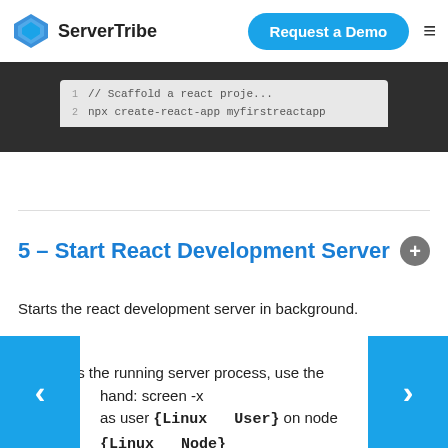ServerTribe | Request a Demo
[Figure (screenshot): Code block showing scaffold react project with npx create-react-app myfirstreactapp command, lines 1 and 2 visible on dark background]
5 - Start React Development Server
Starts the react development server in background.
To access the running server process, use the command: screen -x as user {Linux  User} on node {Linux  Node}